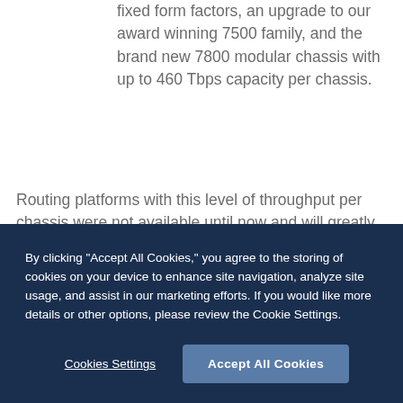fixed form factors, an upgrade to our award winning 7500 family, and the brand new 7800 modular chassis with up to 460 Tbps capacity per chassis.
Routing platforms with this level of throughput per chassis were not available until now and will greatly simplify the way next-generation high-speed networks will be built. However, the single most important feature of any routing platform is the robustness and resiliency of its software stack. Arista’s EOS extensible operating system, which powers all of our switching and routing platforms, continues to lead the
By clicking “Accept All Cookies,” you agree to the storing of cookies on your device to enhance site navigation, analyze site usage, and assist in our marketing efforts. If you would like more details or other options, please review the Cookie Settings.
Cookies Settings
Accept All Cookies